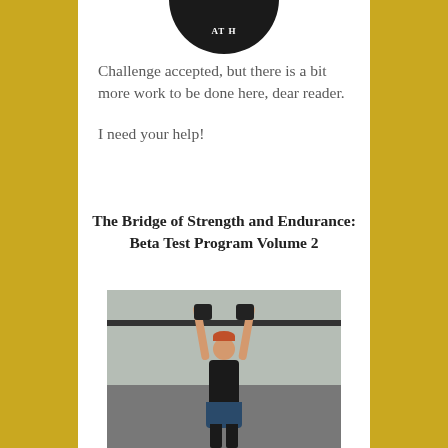[Figure (logo): Circular black logo partially visible at top center of white panel]
Challenge accepted, but there is a bit more work to be done here, dear reader.
I need your help!
The Bridge of Strength and Endurance: Beta Test Program Volume 2
[Figure (photo): Person lifting two kettlebells overhead in a gym setting, wearing black top and dark shorts]